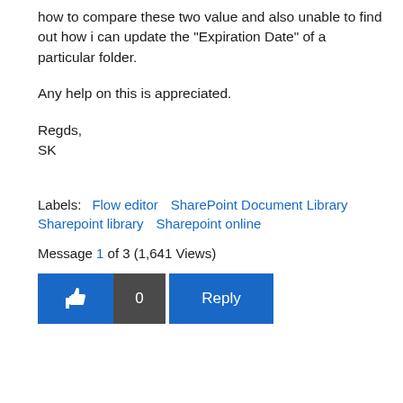how to compare these two value and also unable to find out how i can update the "Expiration Date" of a particular folder.
Any help on this is appreciated.
Regds,
SK
Labels:   Flow editor   SharePoint Document Library   Sharepoint library   Sharepoint online
Message 1 of 3  (1,641 Views)